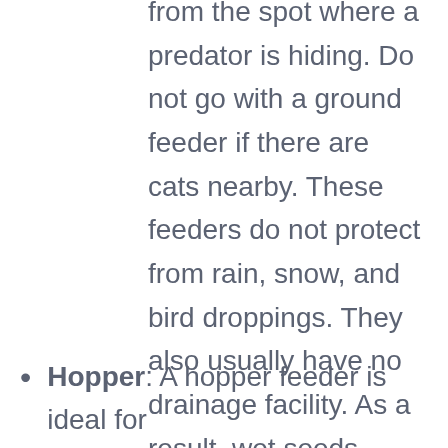from the spot where a predator is hiding. Do not go with a ground feeder if there are cats nearby. These feeders do not protect from rain, snow, and bird droppings. They also usually have no drainage facility. As a result, wet seeds promote fungal and bacterial growth. The best models boast a screened bottom to facilitate full drainage and come with a roof to provide weather protection to some extent. You can mount such feeders on railings or posts apart from suspending them.
Hopper: A hopper feeder is ideal for